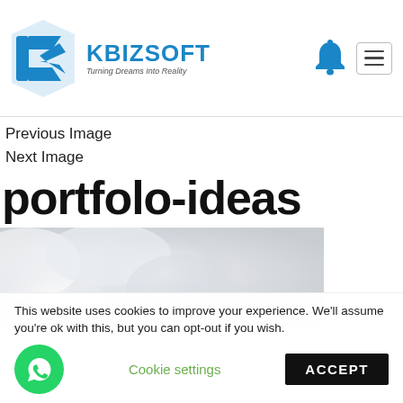[Figure (logo): Kbizsoft logo with blue angular K icon and tagline 'Turning Dreams Into Reality']
Previous Image
Next Image
portfolo-ideas
[Figure (photo): Partial view of a white sculptural or cloud-like object on a light background]
This website uses cookies to improve your experience. We'll assume you're ok with this, but you can opt-out if you wish.
Cookie settings
ACCEPT